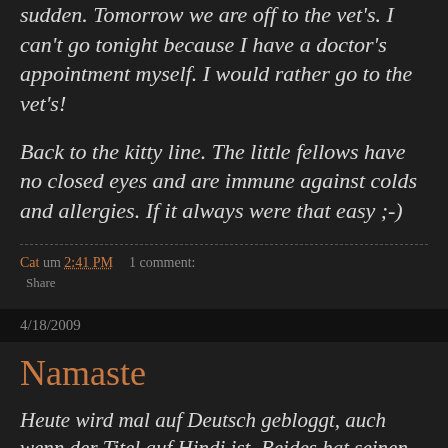sudden. Tomorrow we are off to the vet's. I can't go tonight because I have a doctor's appointment myself. I would rather go to the vet's!
Back to the kitty line. The little fellows have no closed eyes and are immune against colds and allergies. If it always were that easy ;-)
Cat um 2:41 PM    1 comment:
Share
4/18/2009
Namaste
Heute wird mal auf Deutsch gebloggt, auch wenn der Titel auf Hindi ist. Beides hat seinen Grund